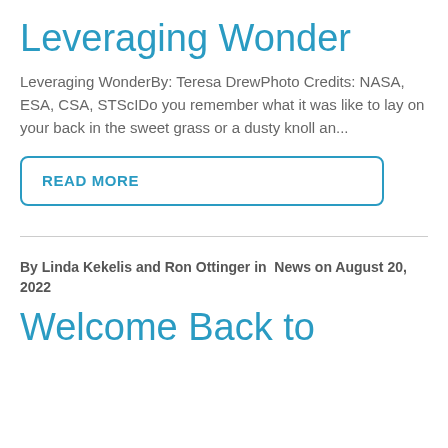Leveraging Wonder
Leveraging WonderBy: Teresa DrewPhoto Credits: NASA, ESA, CSA, STScIDo you remember what it was like to lay on your back in the sweet grass or a dusty knoll an...
READ MORE
By Linda Kekelis and Ron Ottinger in  News on August 20, 2022
Welcome Back to